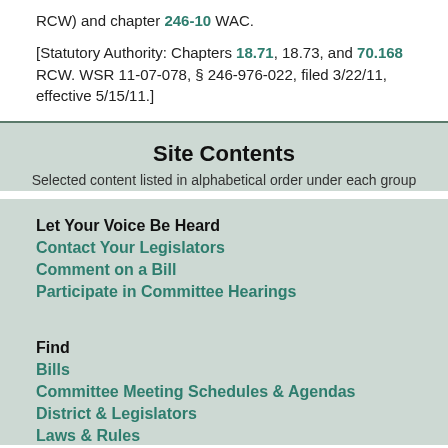RCW) and chapter 246-10 WAC.
[Statutory Authority: Chapters 18.71, 18.73, and 70.168 RCW. WSR 11-07-078, § 246-976-022, filed 3/22/11, effective 5/15/11.]
Site Contents
Selected content listed in alphabetical order under each group
Let Your Voice Be Heard
Contact Your Legislators
Comment on a Bill
Participate in Committee Hearings
Find
Bills
Committee Meeting Schedules & Agendas
District & Legislators
Laws & Rules